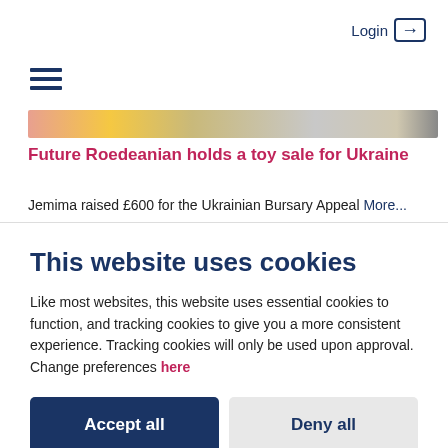Login →
[Figure (other): Hamburger menu icon (three horizontal navy lines)]
[Figure (photo): Partial image strip showing colorful toys]
Future Roedeanian holds a toy sale for Ukraine
Jemima raised £600 for the Ukrainian Bursary Appeal More...
This website uses cookies
Like most websites, this website uses essential cookies to function, and tracking cookies to give you a more consistent experience. Tracking cookies will only be used upon approval. Change preferences here
Accept all
Deny all